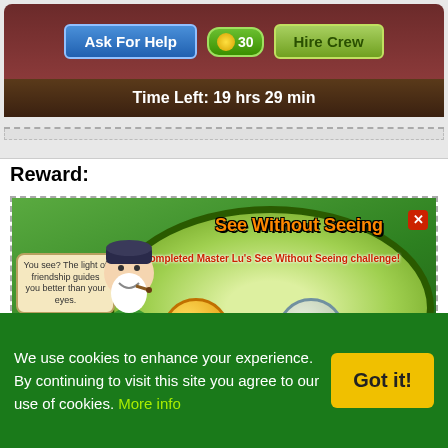[Figure (screenshot): Game UI screenshot showing Ask For Help button, 30 coins, Hire Crew button, and Time Left: 19 hrs 29 min timer bar]
Reward:
[Figure (screenshot): Game reward popup showing 'See Without Seeing' challenge completion. Text: 'You completed Master Lu's See Without Seeing challenge!' with ZP x25 coins and Small Axe rewards, Share button, and master character with speech bubble: 'You see? The light of friendship guides you better than your eyes.']
Note: The Small Axe are like Crowbars and Picks, they are use to
We use cookies to enhance your experience. By continuing to visit this site you agree to our use of cookies. More info
Got it!